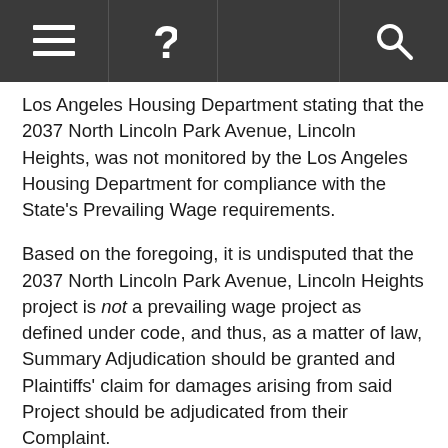≡  ?  🔍
Los Angeles Housing Department stating that the 2037 North Lincoln Park Avenue, Lincoln Heights, was not monitored by the Los Angeles Housing Department for compliance with the State's Prevailing Wage requirements.
Based on the foregoing, it is undisputed that the 2037 North Lincoln Park Avenue, Lincoln Heights project is not a prevailing wage project as defined under code, and thus, as a matter of law, Summary Adjudication should be granted and Plaintiffs' claim for damages arising from said Project should be adjudicated from their Complaint.
3. 9229 SEPULVEDA BLVD. NORTH HILLS IS NOT A PREVAILING WAGE PROJECT AND SHOULD THUS BE ADJUDICATED FROM PLAINTIFFS'